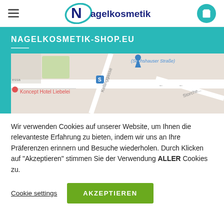Nagelkosmetik logo header with hamburger menu and cart icon
NAGELKOSMETIK-SHOP.EU
[Figure (map): Street map showing Koncept Hotel Liebelei, Kellinggasse, Storche..., and (Sechshauser Straße) label, with a map pin and a bus/tram stop icon]
Wir verwenden Cookies auf unserer Website, um Ihnen die relevanteste Erfahrung zu bieten, indem wir uns an Ihre Präferenzen erinnern und Besuche wiederholen. Durch Klicken auf "Akzeptieren" stimmen Sie der Verwendung ALLER Cookies zu.
Cookie settings | AKZEPTIEREN